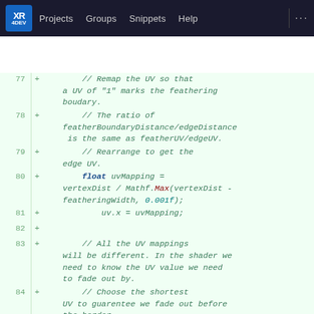XR 4DEV | Projects | Groups | Snippets | Help
[Figure (screenshot): Code diff viewer showing lines 77-84 of a shader/C# file with added lines (marked with +) on a light green background. Lines include comments about UV remapping and feathering, and code for uvMapping calculation using Mathf.Max.]